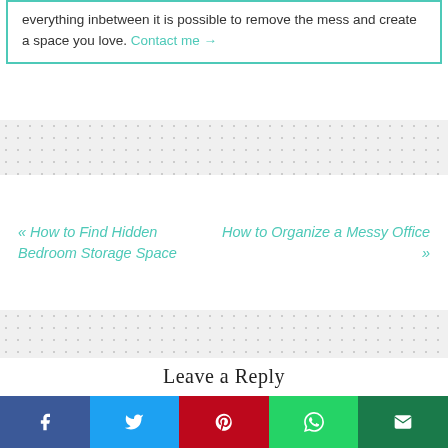everything inbetween it is possible to remove the mess and create a space you love. Contact me →
« How to Find Hidden Bedroom Storage Space
How to Organize a Messy Office »
Leave a Reply
Your email address will not be published.
Required fields are marked *